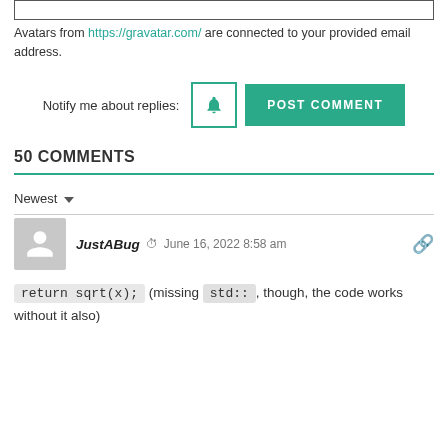Avatars from https://gravatar.com/ are connected to your provided email address.
Notify me about replies: [bell icon] POST COMMENT
50 COMMENTS
Newest
JustABug  June 16, 2022 8:58 am
return sqrt(x); (missing std:: , though, the code works without it also)